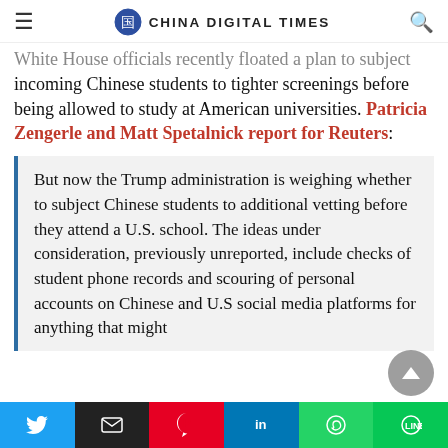CHINA DIGITAL TIMES
White House officials recently floated a plan to subject incoming Chinese students to tighter screenings before being allowed to study at American universities. Patricia Zengerle and Matt Spetalnick report for Reuters:
But now the Trump administration is weighing whether to subject Chinese students to additional vetting before they attend a U.S. school. The ideas under consideration, previously unreported, include checks of student phone records and scouring of personal accounts on Chinese and U.S social media platforms for anything that might
Twitter | Email | Pinterest | LinkedIn | WhatsApp | Line